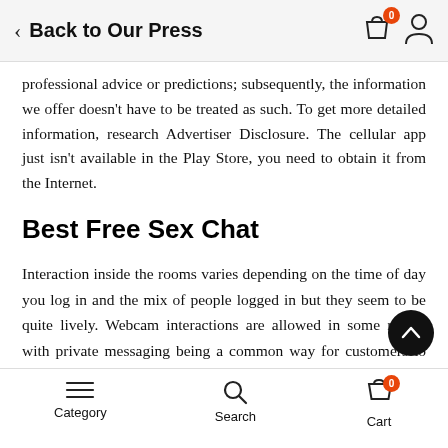Back to Our Press
professional advice or predictions; subsequently, the information we offer doesn't have to be treated as such. To get more detailed information, research Advertiser Disclosure. The cellular app just isn't available in the Play Store, you need to obtain it from the Internet.
Best Free Sex Chat
Interaction inside the rooms varies depending on the time of day you log in and the mix of people logged in but they seem to be quite lively. Webcam interactions are allowed in some rooms with private messaging being a common way for customers to speak. Not a chat room as such however Chatzy gives you a personal and anonymous place to
Category   Search   Cart